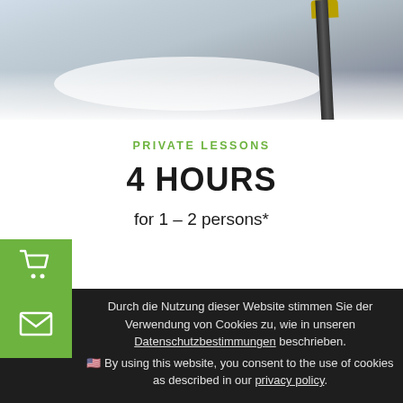[Figure (photo): Ski poles and snow background photo, partial view from above showing ski equipment in snowy landscape]
PRIVATE LESSONS
4 HOURS
for 1 – 2 persons*
Durch die Nutzung dieser Website stimmen Sie der Verwendung von Cookies zu, wie in unseren Datenschutzbestimmungen beschrieben.
🇺🇸 By using this website, you consent to the use of cookies as described in our privacy policy.
OK
NEIN, DANKE - NO, THANKS